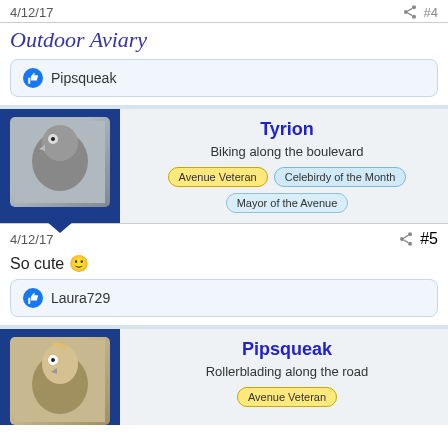4/12/17  #4
Outdoor Aviary
Pipsqueak
[Figure (photo): User card for Tyrion showing a bird photo, username Tyrion, subtitle Biking along the boulevard, badges: Avenue Veteran, Celebirdy of the Month, Mayor of the Avenue]
4/12/17  #5
So cute 😊
Laura729
[Figure (photo): User card for Pipsqueak showing a bird photo, username Pipsqueak, subtitle Rollerblading along the road, badge: Avenue Veteran]